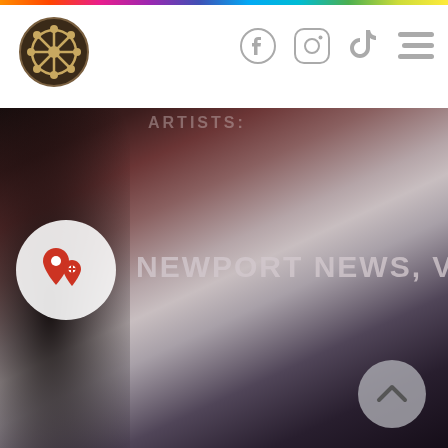Navigation header with logo, Facebook, Instagram, TikTok icons, and hamburger menu
[Figure (screenshot): Website screenshot showing a navigation header with a ship wheel logo, social media icons (Facebook, Instagram, TikTok), and a hamburger menu. Below is a dark blurred background image with a location pin icon in a white circle and the text NEWPORT NEWS, VA in large bold letters. A back-to-top arrow button is in the bottom right corner.]
ARTISTS:
NEWPORT NEWS, VA